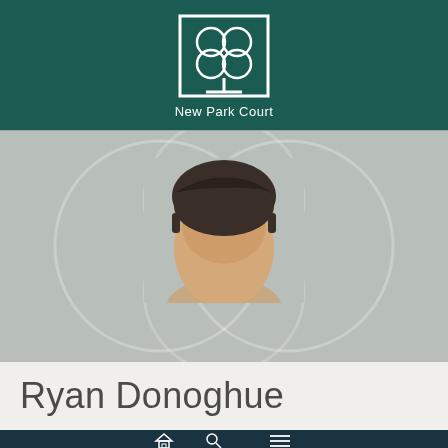[Figure (logo): New Park Court chambers logo — white outlined square containing overlapping circles forming a four-leaf clover/tree shape, with text 'New Park Court' below]
[Figure (photo): Top portion of a man's head with dark hair slicked back, cropped so only forehead and hair are visible, on grey background with large faint watermark circles]
Ryan Donoghue
[Figure (other): Dark navy bottom navigation bar with home icon, search/magnifying glass icon, and hamburger menu icon]